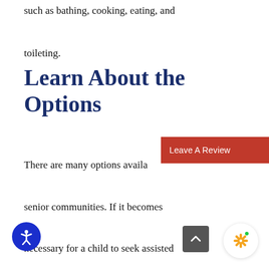such as bathing, cooking, eating, and toileting.
Learn About the Options
There are many options available… senior communities. If it becomes necessary for a child to seek assisted living for their elderly parents, finding the right community is important. In